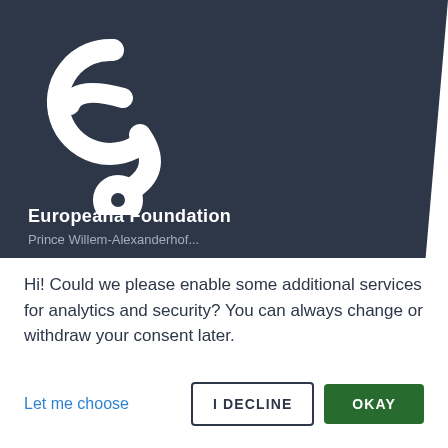[Figure (logo): Europeana Foundation logo: stylized 'e' with question mark dot on dark navy background]
Europeana Foundation
Prince Willem-Alexanderhof...
Hi! Could we please enable some additional services for analytics and security? You can always change or withdraw your consent later.
Let me choose
I DECLINE
OKAY